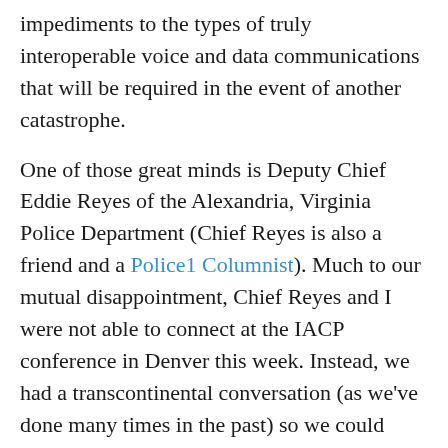impediments to the types of truly interoperable voice and data communications that will be required in the event of another catastrophe.
One of those great minds is Deputy Chief Eddie Reyes of the Alexandria, Virginia Police Department (Chief Reyes is also a friend and a Police1 Columnist). Much to our mutual disappointment, Chief Reyes and I were not able to connect at the IACP conference in Denver this week. Instead, we had a transcontinental conversation (as we've done many times in the past) so we could provide Police1 members and readers with an update on what's happening in 700MHz and the slow march toward interoperable public safety communications.
“It is well established that public safety personnel need a wireless broadband network with priority access that has a nationwide footprint, is interoperable and shared, and incorporates the latest technologies utilized by the private sector.” Reyes told me. “The fact is that these